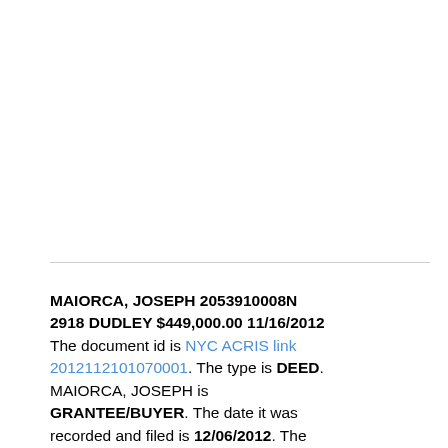MAIORCA, JOSEPH 2053910008N 2918 DUDLEY $449,000.00 11/16/2012 The document id is NYC ACRIS link 2012112101070001. The type is DEED. MAIORCA, JOSEPH is GRANTEE/BUYER. The date it was recorded and filed is 12/06/2012. The